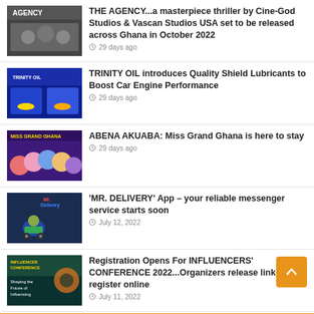THE AGENCY...a masterpiece thriller by Cine-God Studios & Vascan Studios USA set to be released across Ghana in October 2022
29 days ago
TRINITY OIL introduces Quality Shield Lubricants to Boost Car Engine Performance
29 days ago
ABENA AKUABA: Miss Grand Ghana is here to stay
29 days ago
'MR. DELIVERY' App – your reliable messenger service starts soon
July 12, 2022
Registration Opens For INFLUENCERS' CONFERENCE 2022...Organizers release link to register online
July 11, 2022
OUR TWEETS